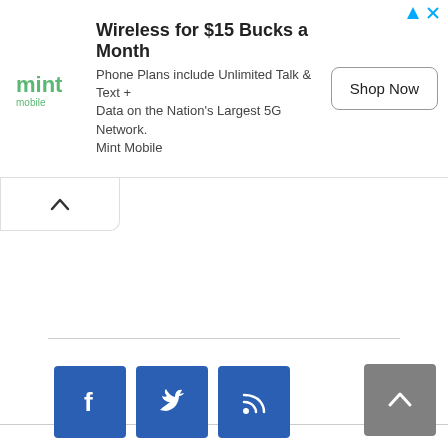[Figure (other): Mint Mobile advertisement banner. Logo on left showing 'mint mobile' in green text. Headline: 'Wireless for $15 Bucks a Month'. Body: 'Phone Plans include Unlimited Talk & Text + Data on the Nation's Largest 5G Network. Mint Mobile'. Button: 'Shop Now'. Ad icons in top-right corner.]
[Figure (other): Collapse/accordion tab with an upward-pointing caret (^) chevron icon, white background with light border.]
[Figure (other): Gray scroll-to-top button with upward chevron arrow in bottom-right corner.]
[Figure (other): Three social media icon buttons: Facebook (f), Twitter (bird), RSS feed (signal waves). Blue square buttons in bottom-left area.]